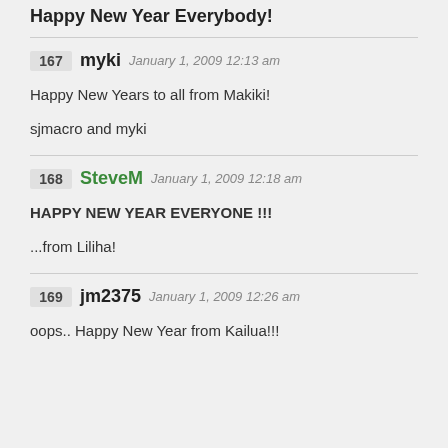Happy New Year Everybody!
167 myki January 1, 2009 12:13 am
Happy New Years to all from Makiki!
sjmacro and myki
168 SteveM January 1, 2009 12:18 am
HAPPY NEW YEAR EVERYONE !!!
...from Liliha!
169 jm2375 January 1, 2009 12:26 am
oops.. Happy New Year from Kailua!!!